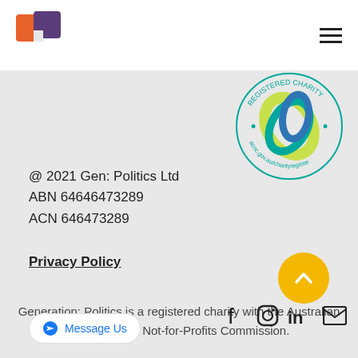[Figure (logo): Gen Politics logo with orange and purple speech bubble shapes]
[Figure (logo): Australian Registered Charity seal/badge from acnc.gov.au/charityregister]
@ 2021 Gen: Politics Ltd
ABN 64646473289
ACN 646473289
Privacy Policy
Generation: Politics is a registered charity with the Australian Charities and Not-for-Profits Commission.
[Figure (illustration): Yellow circular scroll-to-top button with upward chevron]
[Figure (illustration): Social media icons: Facebook, Instagram, LinkedIn, Email]
[Figure (illustration): Messenger chat button labeled Message Us]